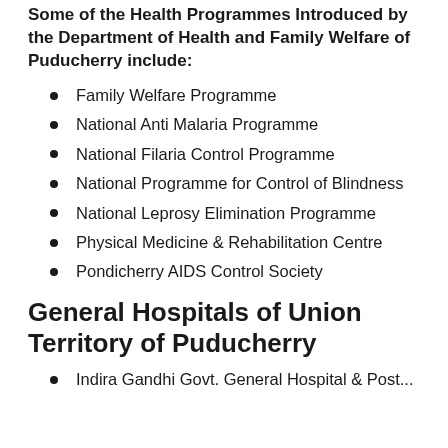Some of the Health Programmes Introduced by the Department of Health and Family Welfare of Puducherry include:
Family Welfare Programme
National Anti Malaria Programme
National Filaria Control Programme
National Programme for Control of Blindness
National Leprosy Elimination Programme
Physical Medicine & Rehabilitation Centre
Pondicherry AIDS Control Society
General Hospitals of Union Territory of Puducherry
Indira Gandhi Govt. General Hospital & Post...